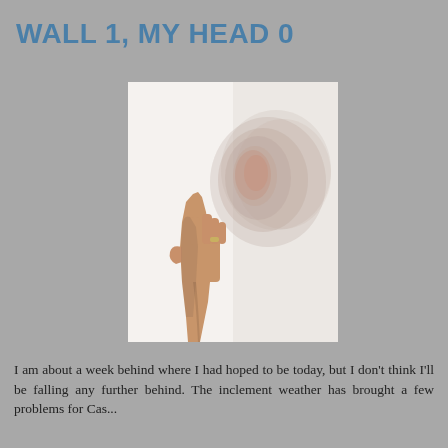WALL 1, MY HEAD 0
[Figure (photo): A hand pressed flat against a white wall, with a motion-blurred or multiple-exposure effect showing a head/face pressed into the wall above the hand. The person appears to be leaning or bumping their head against the wall. The image is in portrait orientation with a white background.]
I am about a week behind where I had hoped to be today, but I don't think I'll be falling any further behind. The inclement weather has brought a few problems for Cas...